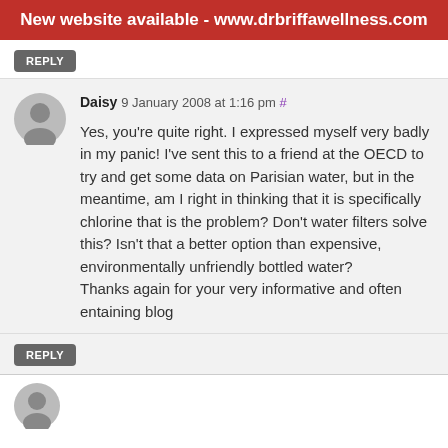New website available - www.drbriffawellness.com
REPLY
Daisy 9 January 2008 at 1:16 pm #
Yes, you're quite right. I expressed myself very badly in my panic! I've sent this to a friend at the OECD to try and get some data on Parisian water, but in the meantime, am I right in thinking that it is specifically chlorine that is the problem? Don't water filters solve this? Isn't that a better option than expensive, environmentally unfriendly bottled water?
Thanks again for your very informative and often entaining blog
REPLY